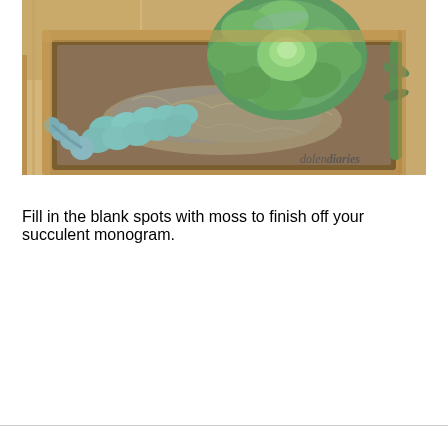[Figure (photo): A wooden tray planter containing green succulents and blue-green succulent plants arranged with dried moss. A watermark reads 'dolendiaries' in script at the bottom right.]
Fill in the blank spots with moss to finish off your succulent monogram.